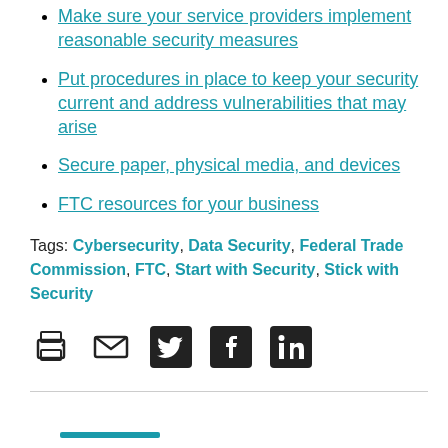Make sure your service providers implement reasonable security measures
Put procedures in place to keep your security current and address vulnerabilities that may arise
Secure paper, physical media, and devices
FTC resources for your business
Tags: Cybersecurity, Data Security, Federal Trade Commission, FTC, Start with Security, Stick with Security
[Figure (other): Social share icons: print, email, Twitter, Facebook, LinkedIn]